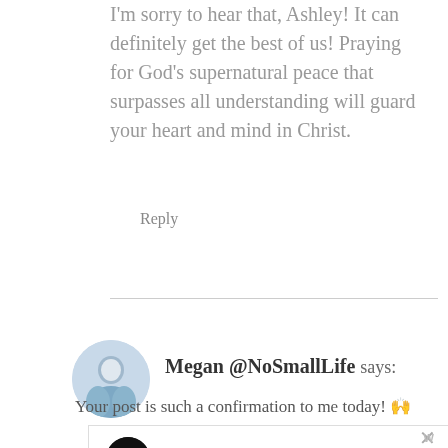I'm sorry to hear that, Ashley! It can definitely get the best of us! Praying for God's supernatural peace that surpasses all understanding will guard your heart and mind in Christ.
Reply
Megan @NoSmallLife says:
Your post is such a confirmation to me today! 🙌
[Figure (other): Advertisement banner: Up To $110 Off Instantly on New Tires + $40 Off Alignments]